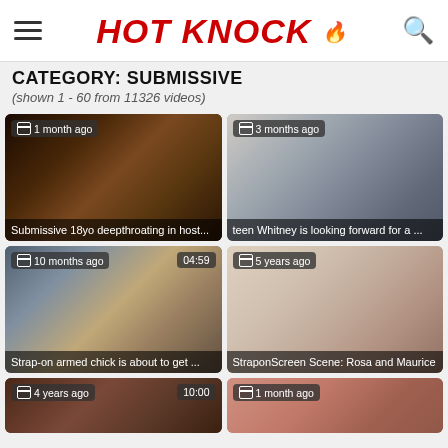HOT KNOCK
CATEGORY: SUBMISSIVE
(shown 1 - 60 from 11326 videos)
[Figure (screenshot): Video thumbnail: Submissive 18yo deepthroating in host... – 1 month ago]
[Figure (screenshot): Video thumbnail: teen Whitney is looking forward for a ... – 3 months ago]
[Figure (screenshot): Video thumbnail: Strap-on armed chick is about to get ... – 10 months ago, 04:59]
[Figure (screenshot): Video thumbnail: StraponScreen Scene: Rosa and Maurice – 5 years ago]
[Figure (screenshot): Video thumbnail – 4 years ago, 10:00]
[Figure (screenshot): Video thumbnail – 1 month ago]